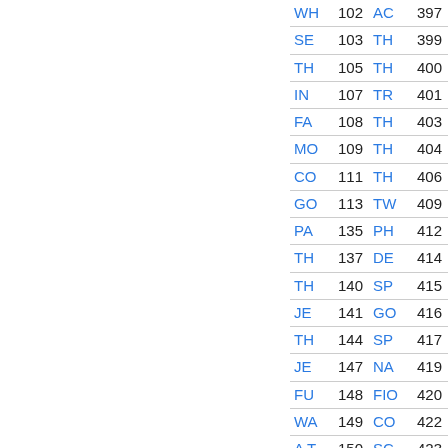| Entry | Page | Entry | Page |
| --- | --- | --- | --- |
| WH | 102 | AC | 397 |
| SE | 103 | TH | 399 |
| TH | 105 | TH | 400 |
| IN | 107 | TR | 401 |
| FA | 108 | TH | 403 |
| MO | 109 | TH | 404 |
| CO | 111 | TH | 406 |
| GO | 113 | TW | 409 |
| PA | 135 | PH | 412 |
| TH | 137 | DE | 414 |
| TH | 140 | SP | 415 |
| JE | 141 | GO | 416 |
| TH | 144 | SP | 417 |
| JE | 147 | NA | 419 |
| FU | 148 | FIO | 420 |
| WA | 149 | CO | 422 |
| A T | 150 | SC | 423 |
| B T | 155 | MA | 424 |